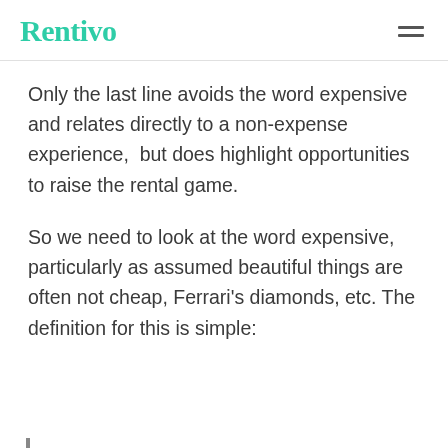Rentivo
Only the last line avoids the word expensive and relates directly to a non-expense experience,  but does highlight opportunities to raise the rental game.
So we need to look at the word expensive, particularly as assumed beautiful things are often not cheap, Ferrari's diamonds, etc. The definition for this is simple: